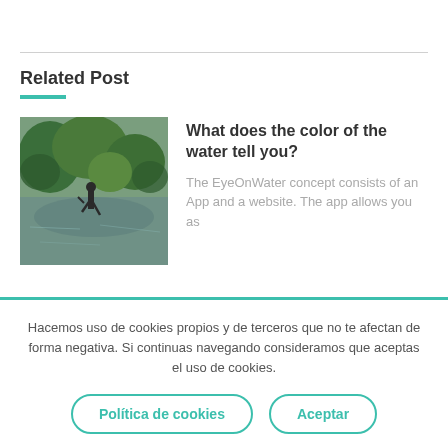Related Post
[Figure (photo): Outdoor scene showing a person near greenish water with trees and foliage in the background]
What does the color of the water tell you?
The EyeOnWater concept consists of an App and a website. The app allows you as
Hacemos uso de cookies propios y de terceros que no te afectan de forma negativa. Si continuas navegando consideramos que aceptas el uso de cookies.
Política de cookies
Aceptar